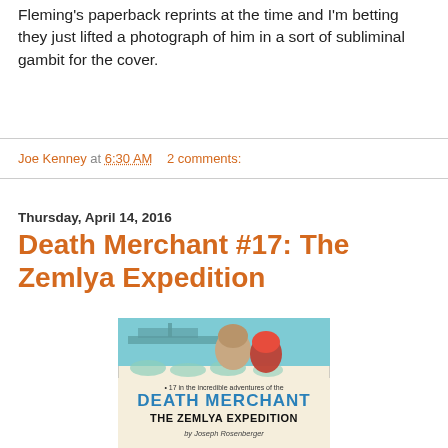Fleming's paperback reprints at the time and I'm betting they just lifted a photograph of him in a sort of subliminal gambit for the cover.
Joe Kenney at 6:30 AM    2 comments:
Thursday, April 14, 2016
Death Merchant #17: The Zemlya Expedition
[Figure (illustration): Book cover for 'Death Merchant #17: The Zemlya Expedition' by Joseph Rosenberger. Shows two figures — one bald and one in a red helmet — against a naval backdrop. Blue bold text reads 'DEATH MERCHANT' and black bold text reads 'THE ZEMLYA EXPEDITION'. Above reads '17 In the incredible adventures of the'. Below reads 'by Joseph Rosenberger'.]